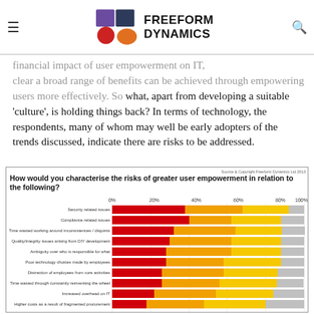Freeform Dynamics
financial impact of user empowerment on IT, clear a broad range of benefits can be achieved through empowering users more effectively. So what, apart from developing a suitable 'culture', is holding things back? In terms of technology, the respondents, many of whom may well be early adopters of the trends discussed, indicate there are risks to be addressed.
[Figure (stacked-bar-chart): How would you characterise the risks of greater user empowerment in relation to the following?]